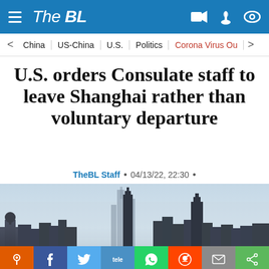The BL
China | US-China | U.S. | Politics | Corona Virus Ou
U.S. orders Consulate staff to leave Shanghai rather than voluntary departure
TheBL Staff • 04/13/22, 22:30 •
[Figure (photo): Shanghai city skyline silhouette against a hazy sky, with tall skyscrapers visible]